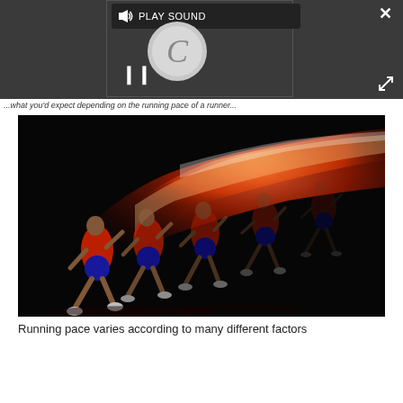[Figure (screenshot): Video player overlay with dark background showing PLAY SOUND button, spinner/loading circle with letter C, pause button (||), close X button, and expand icon]
...what you'd expect depending on the running pace of a runner...
[Figure (photo): Long-exposure motion blur photograph of a sprinter running against a black background, showing multiple positions of the runner in red/orange blur motion trails, wearing red and blue athletic gear]
Running pace varies according to many different factors